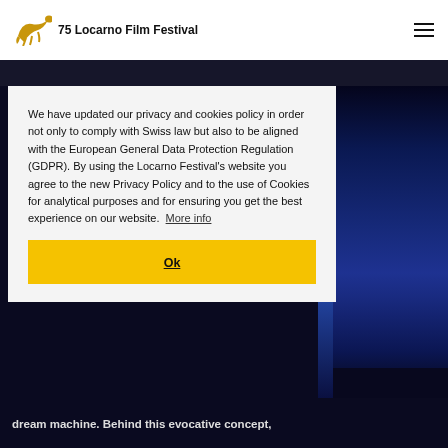75 Locarno Film Festival
[Figure (screenshot): Background showing a blue-lit building at night with crowd (Locarno Film Festival)]
We have updated our privacy and cookies policy in order not only to comply with Swiss law but also to be aligned with the European General Data Protection Regulation (GDPR). By using the Locarno Festival's website you agree to the new Privacy Policy and to the use of Cookies for analytical purposes and for ensuring you get the best experience on our website.  More info
Ok
dream machine. Behind this evocative concept,